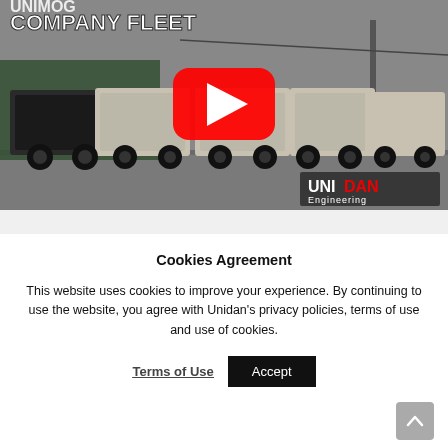[Figure (screenshot): YouTube video thumbnail showing UNIMOG company fleet — a row of white off-road trucks/Unimogs parked in front of a building. The image has the YouTube play button overlay in the center. Text 'COMPANY FLEET' is visible in white at top left. UNIDAN Engineering logo is visible at bottom right. A partial text 'UNIMOG' appears at the top left.]
Cookies Agreement
This website uses cookies to improve your experience. By continuing to use the website, you agree with Unidan's privacy policies, terms of use and use of cookies.
Terms of Use   Accept